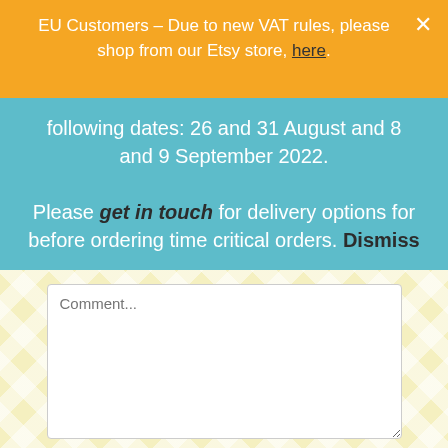EU Customers – Due to new VAT rules, please shop from our Etsy store, here.
following dates: 26 and 31 August and 8 and 9 September 2022.

Please get in touch for delivery options for before ordering time critical orders. Dismiss
[Figure (screenshot): Comment text area input field with placeholder text 'Comment...']
[Figure (screenshot): Name input field (empty)]
This website uses cookies and third party services.